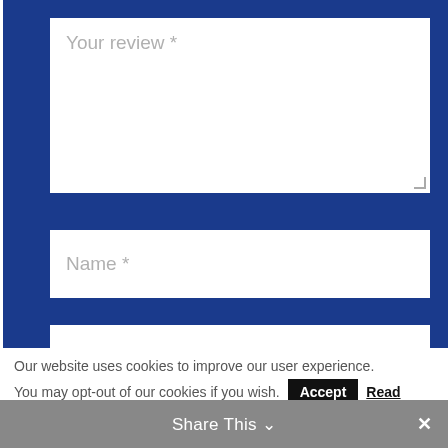[Figure (screenshot): Web form with blue background containing textarea labeled 'Your review *', input field labeled 'Name *', input field labeled 'Email *', and a checkbox with label 'Save my name, email, and website in this browser for the next time I comment.']
Your review *
Name *
Email *
Save my name, email, and website in this browser for the next time I comment.
Our website uses cookies to improve our user experience. You may opt-out of our cookies if you wish.
Accept
Read
Share This